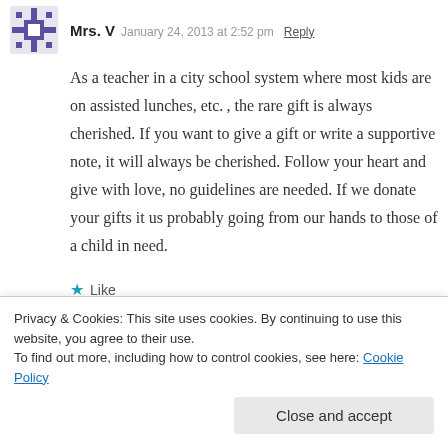Mrs. V  January 24, 2013 at 2:32 pm  Reply
As a teacher in a city school system where most kids are on assisted lunches, etc. , the rare gift is always cherished. If you want to give a gift or write a supportive note, it will always be cherished. Follow your heart and give with love, no guidelines are needed. If we donate your gifts it us probably going from our hands to those of a child in need.
Like
lori selig  January 24, 2013 at 8:25 pm  Reply →
Privacy & Cookies: This site uses cookies. By continuing to use this website, you agree to their use.
To find out more, including how to control cookies, see here: Cookie Policy
Close and accept